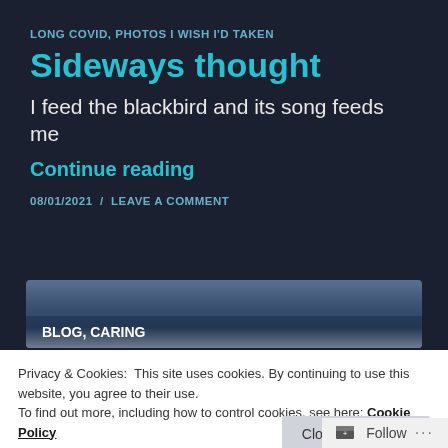LONG COVID, PHOTOS I WISH I'D TAKEN
Sideways thought
I feed the blackbird and its song feeds me
Continue reading
08/01/2021 / LEAVE A COMMENT
[Figure (photo): Card with gradient sky image background and label BLOG, CARING]
Privacy & Cookies: This site uses cookies. By continuing to use this website, you agree to their use.
To find out more, including how to control cookies, see here: Cookie Policy
Close and accept